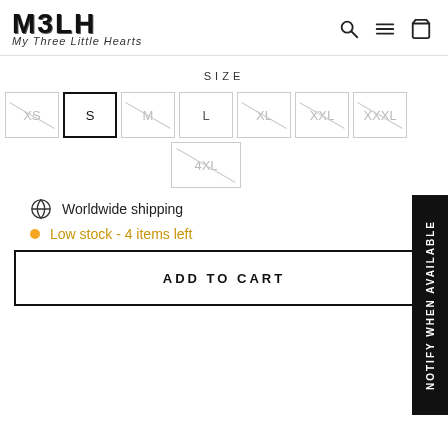[Figure (logo): M3LH brand logo with text 'My Three Little Hearts' in script below]
SIZE
XS  S  M  L  XL  XXL  XXXL  4XL — size selector buttons
Worldwide shipping
Low stock - 4 items left
ADD TO CART
NOTIFY WHEN AVAILABLE